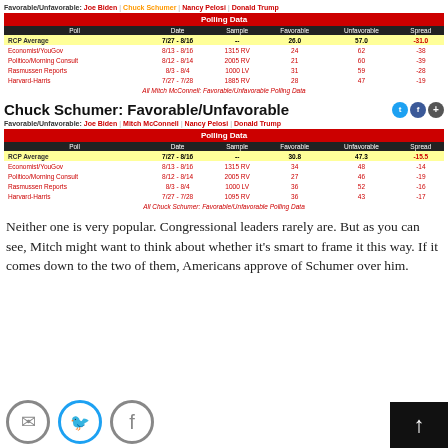Favorable/Unfavorable: Joe Biden | Chuck Schumer | Nancy Pelosi | Donald Trump
| Poll | Date | Sample | Favorable | Unfavorable | Spread |
| --- | --- | --- | --- | --- | --- |
| RCP Average | 7/27 - 8/16 | -- | 26.0 | 57.0 | -31.0 |
| Economist/YouGov | 8/13 - 8/16 | 1315 RV | 24 | 62 | -38 |
| Politico/Morning Consult | 8/12 - 8/14 | 2005 RV | 21 | 60 | -39 |
| Rasmussen Reports | 8/3 - 8/4 | 1000 LV | 31 | 59 | -28 |
| Harvard-Harris | 7/27 - 7/28 | 1885 RV | 28 | 47 | -19 |
All Mitch McConnell: Favorable/Unfavorable Polling Data
Chuck Schumer: Favorable/Unfavorable
Favorable/Unfavorable: Joe Biden | Mitch McConnell | Nancy Pelosi | Donald Trump
| Poll | Date | Sample | Favorable | Unfavorable | Spread |
| --- | --- | --- | --- | --- | --- |
| RCP Average | 7/27 - 8/16 | -- | 30.8 | 47.3 | -15.5 |
| Economist/YouGov | 8/13 - 8/16 | 1315 RV | 34 | 48 | -14 |
| Politico/Morning Consult | 8/12 - 8/14 | 2005 RV | 27 | 46 | -19 |
| Rasmussen Reports | 8/3 - 8/4 | 1000 LV | 36 | 52 | -16 |
| Harvard-Harris | 7/27 - 7/28 | 1095 RV | 36 | 43 | -17 |
All Chuck Schumer: Favorable/Unfavorable Polling Data
Neither one is very popular. Congressional leaders rarely are. But as you can see, Mitch might want to think about whether it's smart to frame it this way. If it comes down to the two of them, Americans approve of Schumer over him.